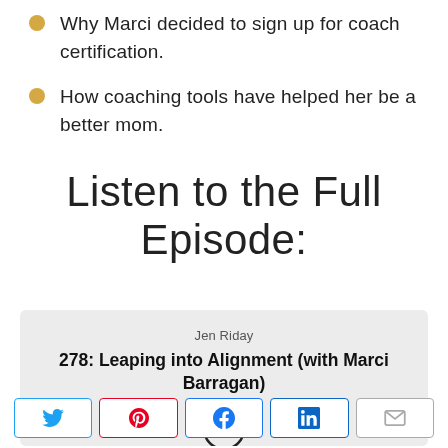Why Marci decided to sign up for coach certification.
How coaching tools have helped her be a better mom.
Listen to the Full Episode:
[Figure (other): Podcast player card showing host Jen Riday and episode 278: Leaping into Alignment (with Marci Barragan) with play/options icon]
[Figure (other): Social share buttons: Twitter, Pinterest, Facebook, LinkedIn, Email]